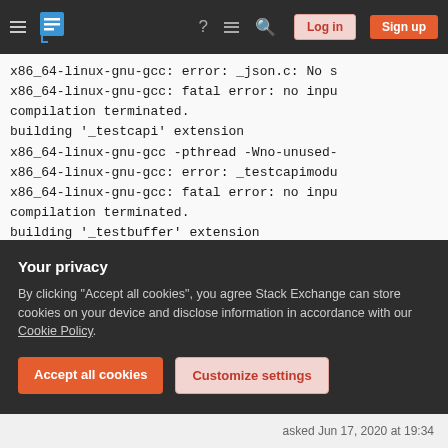Stack Exchange navigation bar with hamburger menu, logo, help, chat, search icons, Log in and Sign up buttons
x86_64-linux-gnu-gcc: error: _json.c: No s
x86_64-linux-gnu-gcc: fatal error: no inpu
compilation terminated.
building '_testcapi' extension
x86_64-linux-gnu-gcc -pthread -Wno-unused-
x86_64-linux-gnu-gcc: error: _testcapimodu
x86_64-linux-gnu-gcc: fatal error: no inpu
compilation terminated.
building '_testbuffer' extension
x86_64-linux-gnu-gcc -pthread -Wno-unused-
x86_64-linux-gnu-gcc: error: _testbuffer.c
x86_64-linux-gnu-gcc: fatal error: no inpu
compilation terminated.
building '_testimportmultiple' extension
Your privacy
By clicking "Accept all cookies", you agree Stack Exchange can store cookies on your device and disclose information in accordance with our Cookie Policy.
Accept all cookies
Customize settings
asked Jun 17, 2020 at 19:34